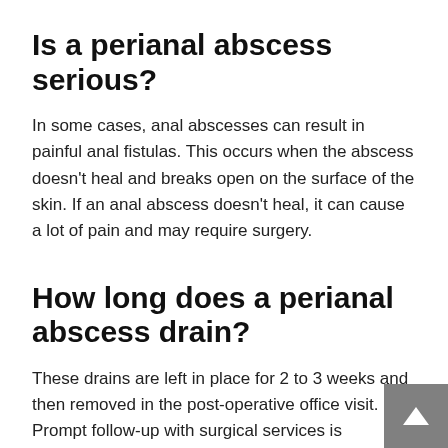Is a perianal abscess serious?
In some cases, anal abscesses can result in painful anal fistulas. This occurs when the abscess doesn't heal and breaks open on the surface of the skin. If an anal abscess doesn't heal, it can cause a lot of pain and may require surgery.
How long does a perianal abscess drain?
These drains are left in place for 2 to 3 weeks and then removed in the post-operative office visit. Prompt follow-up with surgical services is advisable to monitor wound healing. Inadequate drainage may